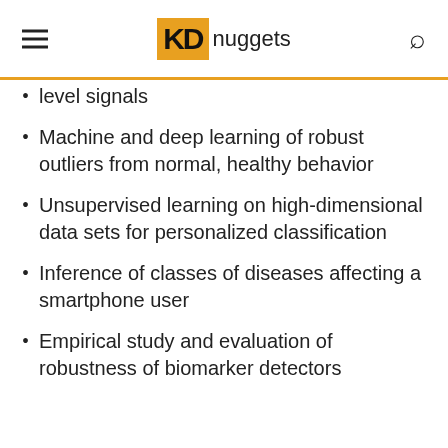KD nuggets
level signals
Machine and deep learning of robust outliers from normal, healthy behavior
Unsupervised learning on high-dimensional data sets for personalized classification
Inference of classes of diseases affecting a smartphone user
Empirical study and evaluation of robustness of biomarker detectors